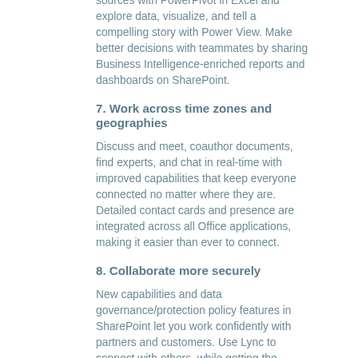sources with PowerPivot in Excel and explore data, visualize, and tell a compelling story with Power View. Make better decisions with teammates by sharing Business Intelligence-enriched reports and dashboards on SharePoint.
7. Work across time zones and geographies
Discuss and meet, coauthor documents, find experts, and chat in real-time with improved capabilities that keep everyone connected no matter where they are. Detailed contact cards and presence are integrated across all Office applications, making it easier than ever to connect.
8. Collaborate more securely
New capabilities and data governance/protection policy features in SharePoint let you work confidently with partners and customers. Use Lync to connect with others, while getting the authentication, encryption, and media controls your enterprise needs.
9. Get more out of your meetings
The new Lync Meeting tools let you interact with people through video, audio, and instant messaging, and to share content while meeting. Join a Lync Meeting from an HTML5-based browser using the Lync Web App, and enjoy HD